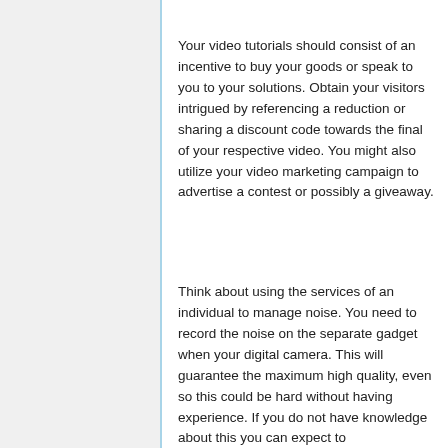Your video tutorials should consist of an incentive to buy your goods or speak to you to your solutions. Obtain your visitors intrigued by referencing a reduction or sharing a discount code towards the final of your respective video. You might also utilize your video marketing campaign to advertise a contest or possibly a giveaway.
Think about using the services of an individual to manage noise. You need to record the noise on the separate gadget when your digital camera. This will guarantee the maximum high quality, even so this could be hard without having experience. If you do not have knowledge about this you can expect to